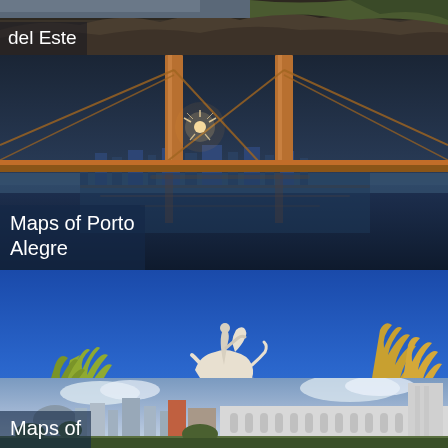[Figure (photo): Partial top panel showing dark rocky/natural scene with text label 'del Este' in white on semi-transparent dark background]
del Este
[Figure (photo): Night photo of a suspension bridge illuminated in orange/gold with a city skyline reflected in water below]
Maps of Porto Alegre
[Figure (photo): Photo of an equestrian statue on a rocky outcrop against a bright blue sky, with palm trees and golden fan palms on either side]
Maps of Mendoza
[Figure (photo): Partial bottom panel showing a city skyline with colonial white building architecture and modern towers under a cloudy sky]
Maps of